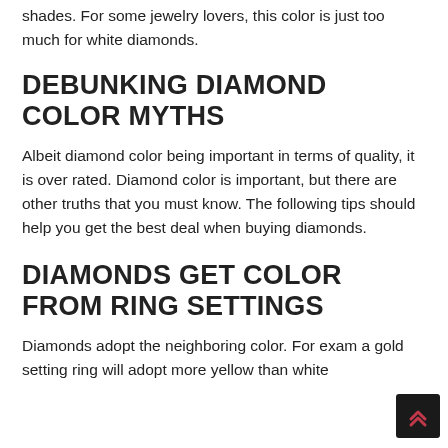shades. For some jewelry lovers, this color is just too much for white diamonds.
DEBUNKING DIAMOND COLOR MYTHS
Albeit diamond color being important in terms of quality, it is over rated. Diamond color is important, but there are other truths that you must know. The following tips should help you get the best deal when buying diamonds.
DIAMONDS GET COLOR FROM RING SETTINGS
Diamonds adopt the neighboring color. For exam… a gold setting ring will adopt more yellow than white…